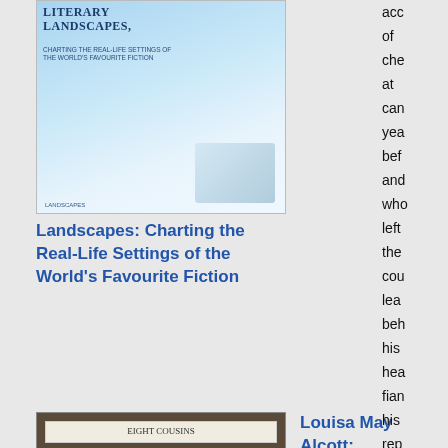[Figure (photo): Book cover: Literary Landscapes: Charting the Real-Life Settings of the World's Favourite Fiction]
Landscapes: Charting the Real-Life Settings of the World's Favourite Fiction
[Figure (photo): Book cover: Louisa May Alcott: Eight Cousins]
Louisa May Alcott: Eight Cousins
[Figure (photo): Book cover: Louisa M. Alcott: Rose in Bloom: A Sequel to Eight Cousins]
Louisa M. Alcott: Rose in Bloom: A Sequel to Eight
acc
of
che
at
can
yea
bef
and
who
left
the
cou
lea
beh
his
hea
fian
his
rep
dea
in
the
Klo